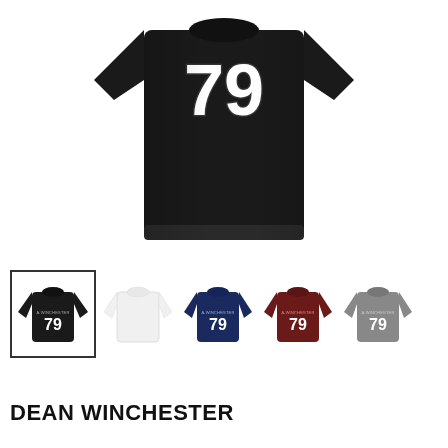[Figure (photo): Close-up of the back/front of a black t-shirt with large white number '79' printed on it, shown on a white background]
[Figure (photo): Five color variants of a t-shirt with '79' and 'A.WINCHESTER' text: black (selected/bordered), white, navy blue, dark red/maroon, and grey]
DEAN WINCHESTER